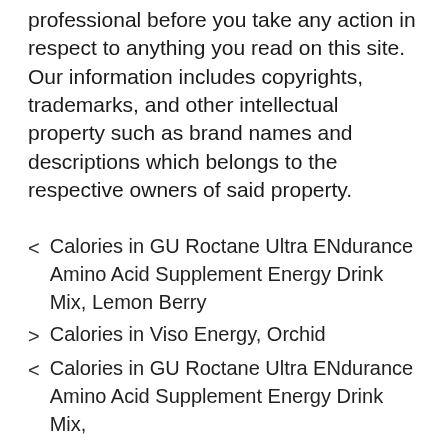professional before you take any action in respect to anything you read on this site. Our information includes copyrights, trademarks, and other intellectual property such as brand names and descriptions which belongs to the respective owners of said property.
< Calories in GU Roctane Ultra ENdurance Amino Acid Supplement Energy Drink Mix, Lemon Berry
> Calories in Viso Energy, Orchid
< Calories in GU Roctane Ultra ENdurance Amino Acid Supplement Energy Drink Mix,